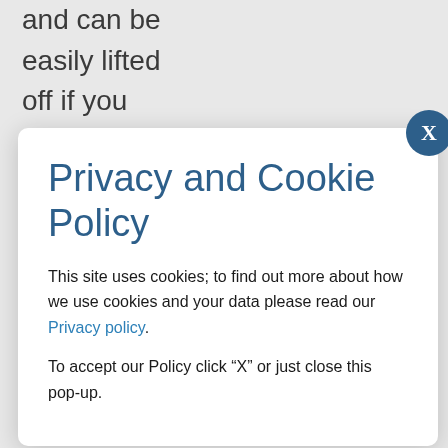and can be
easily lifted
off if you
arrive
somewhere
Privacy and Cookie Policy
This site uses cookies; to find out more about how we use cookies and your data please read our Privacy policy.
To accept our Policy click “X” or just close this pop-up.